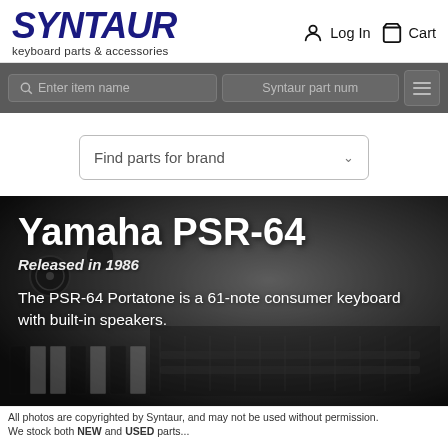SYNTAUR keyboard parts & accessories
Log In  Cart
Enter item name  Syntaur part num
Find parts for brand
[Figure (photo): Dark background photo of a Yamaha keyboard synthesizer control panel with knobs and buttons]
Yamaha PSR-64
Released in 1986
The PSR-64 Portatone is a 61-note consumer keyboard with built-in speakers.
All photos are copyrighted by Syntaur, and may not be used without permission.
We stock both NEW and USED parts...